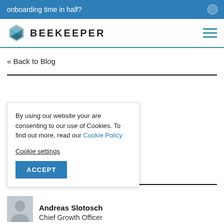onboarding time in half?
[Figure (logo): Beekeeper logo with hexagonal gem icon and BEEKEEPER wordmark]
« Back to Blog
By using our website your are consenting to our use of Cookies. To find out more, read our Cookie Policy
Cookie settings
ACCEPT
ve Internal
in the Digital
Andreas Slotosch
Chief Growth Officer